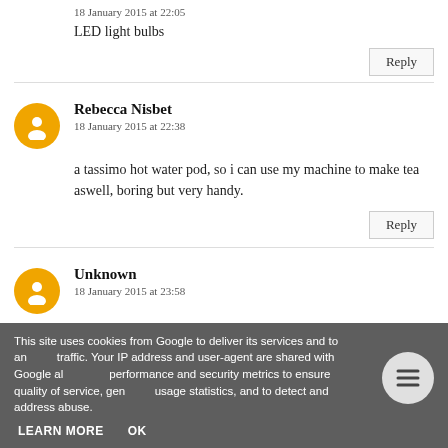18 January 2015 at 22:05
LED light bulbs
Reply
Rebecca Nisbet
18 January 2015 at 22:38
a tassimo hot water pod, so i can use my machine to make tea aswell, boring but very handy.
Reply
Unknown
18 January 2015 at 23:58
This site uses cookies from Google to deliver its services and to analyze traffic. Your IP address and user-agent are shared with Google along with performance and security metrics to ensure quality of service, generate usage statistics, and to detect and address abuse.
LEARN MORE
OK